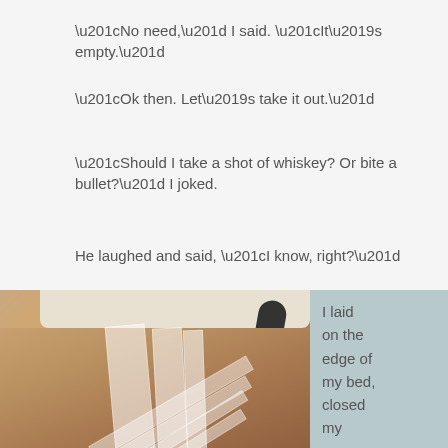“No need,” I said.  “It’s empty.”
“Ok then.  Let’s take it out.”
“Should I take a shot of whiskey? Or bite a bullet?” I joked.
He laughed and said, “I know, right?”
[Figure (photo): Close-up photo of a person's leg or torso with medical adhesive dressing/tape applied, with a white compression garment visible at the top and a medical vacuum hose in the background.]
I laid on the edge of my bed, closed my eyes, and he